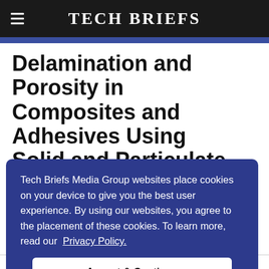Tech Briefs
Delamination and Porosity in Composites and Adhesives Using Solid and Particulate Powdered Aerogel
Tech Briefs Media Group websites place cookies on your device to give you the best user experience. By using our websites, you agree to the placement of these cookies. To learn more, read our Privacy Policy.
Accept & Continue
Langley Research Center, Hampton, Virginia